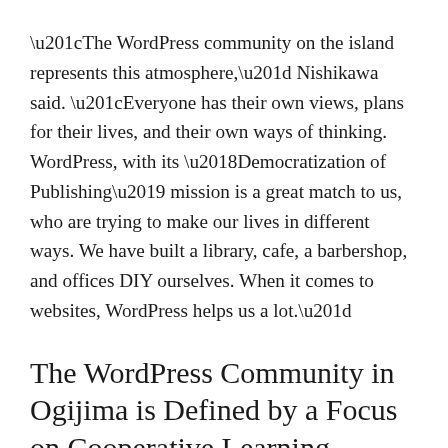“The WordPress community on the island represents this atmosphere,” Nishikawa said. “Everyone has their own views, plans for their lives, and their own ways of thinking. WordPress, with its ‘Democratization of Publishing’ mission is a great match to us, who are trying to make our lives in different ways. We have built a library, cafe, a barbershop, and offices DIY ourselves. When it comes to websites, WordPress helps us a lot.”
The WordPress Community in Ogijima is Defined by a Focus on Cooperative Learning
One of the most inspirational aspects of the